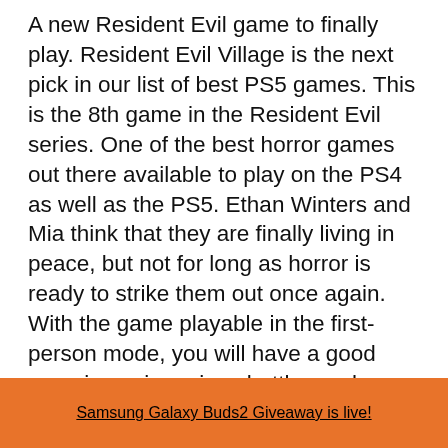A new Resident Evil game to finally play. Resident Evil Village is the next pick in our list of best PS5 games. This is the 8th game in the Resident Evil series. One of the best horror games out there available to play on the PS4 as well as the PS5. Ethan Winters and Mia think that they are finally living in peace, but not for long as horror is ready to strike them out once again. With the game playable in the first-person mode, you will have a good experience in various battles and horror elements that pop up. There are some characters from the older Resident Evil games, and in terms of enemies, there are ones that you have never encountered at all.
Samsung Galaxy Buds2 Giveaway is live!